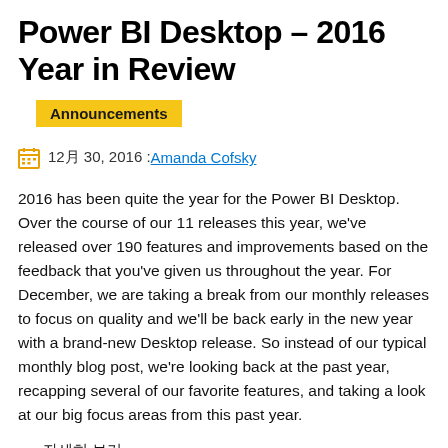Power BI Desktop – 2016 Year in Review
Announcements
12月 30, 2016 :Amanda Cofsky
2016 has been quite the year for the Power BI Desktop. Over the course of our 11 releases this year, we've released over 190 features and improvements based on the feedback that you've given us throughout the year. For December, we are taking a break from our monthly releases to focus on quality and we'll be back early in the new year with a brand-new Desktop release. So instead of our typical monthly blog post, we're looking back at the past year, recapping several of our favorite features, and taking a look at our big focus areas from this past year.
» 자세히 보기